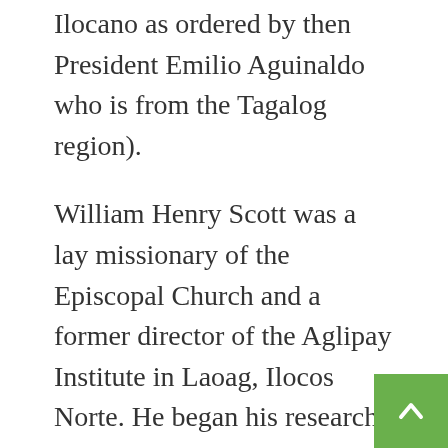Ilocano as ordered by then President Emilio Aguinaldo who is from the Tagalog region).
William Henry Scott was a lay missionary of the Episcopal Church and a former director of the Aglipay Institute in Laoag, Ilocos Norte. He began his research on Ilocano history in Vigan in the 1960s and has written extensively on Ilocano heroes, like Isabelo de los Reyes, and the Candon Uprising of 1898.
In this book, he has rescued from total oblivion the Ilocano struggle to defend the newly formed Philippine republic against foreign invasion. He brings to life Ilocano commanders like Blas and Juan Villamor, Estanislao Reyes and Gregorio Aglipay the logistical support they received from all social